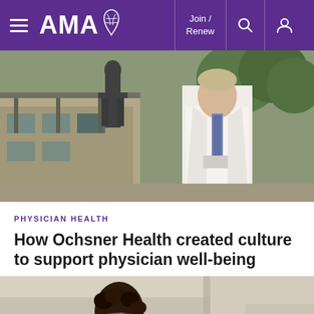AMA — Join / Renew
[Figure (photo): A physician in a white lab coat and patterned blue tie standing outdoors near a bronze statue, with a modern building and green trees in the background.]
PHYSICIAN HEALTH
How Ochsner Health created culture to support physician well-being
[Figure (photo): A person with dark curly hair leaning forward with head down, appearing stressed or fatigued, seated in a light-colored interior setting.]